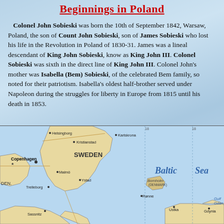Beginnings in Poland
Colonel John Sobieski was born the 10th of September 1842, Warsaw, Poland, the son of Count John Sobieski, son of James Sobieski who lost his life in the Revolution in Poland of 1830-31. James was a lineal descendant of King John Sobieski, know as King John III. Colonel Sobieski was sixth in the direct line of King John III. Colonel John's mother was Isabella (Bem) Sobieski, of the celebrated Bem family, so noted for their patriotism. Isabella's oldest half-brother served under Napoleon during the struggles for liberty in Europe from 1815 until his death in 1853.
[Figure (map): Map of the Baltic Sea region showing Sweden, Denmark, Bornholm, and the southern Baltic coast including cities such as Copenhagen, Helsingborg, Kristianstad, Karlskrona, Malmö, Ystad, Trelleborg, Rønne, Sassnitz, Ustka, Gdynia, with Baltic Sea labeled.]